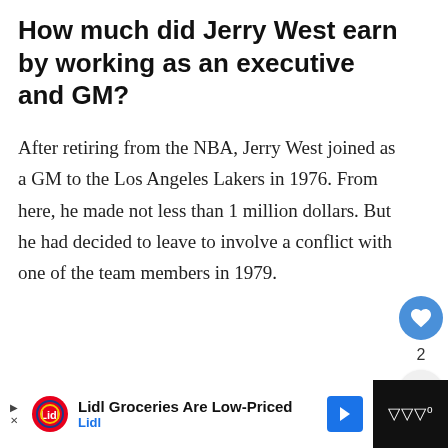How much did Jerry West earn by working as an executive and GM?
After retiring from the NBA, Jerry West joined as a GM to the Los Angeles Lakers in 1976. From here, he made not less than 1 million dollars. But he had decided to leave to involve a conflict with one of the team members in 1979.
[Figure (infographic): Like button (heart icon, blue circle), count '2', and share button on right side panel]
[Figure (infographic): What's Next card: thumbnail of Charles Oakley, label 'WHAT'S NEXT →', text 'Charles Oakley Net...']
[Figure (infographic): Advertisement bar at bottom: Lidl logo, text 'Lidl Groceries Are Low-Priced', 'Lidl', blue arrow icon, dark right block with sound wave icon]